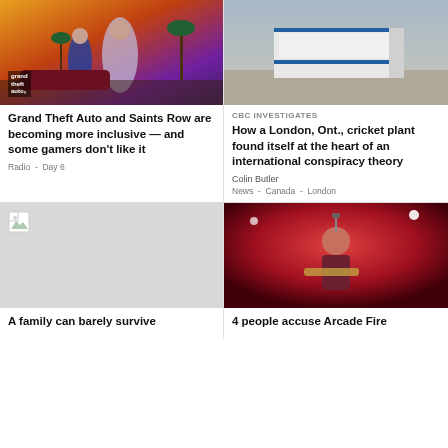[Figure (screenshot): Grand Theft Auto V game artwork showing characters in Los Angeles-style setting with palm trees and sunset]
[Figure (photo): Aerial photo of a large white industrial building (cricket plant) in London, Ontario with surrounding parking lot]
Grand Theft Auto and Saints Row are becoming more inclusive — and some gamers don't like it
Radio  -  Day 6
CBC INVESTIGATES
How a London, Ont., cricket plant found itself at the heart of an international conspiracy theory
Colin Butler
News  -  Canada  -  London
[Figure (photo): Broken/missing image placeholder (grey box)]
[Figure (photo): Concert photo of Arcade Fire performer singing into microphone against red stage lighting, playing guitar]
A family can barely survive
4 people accuse Arcade Fire